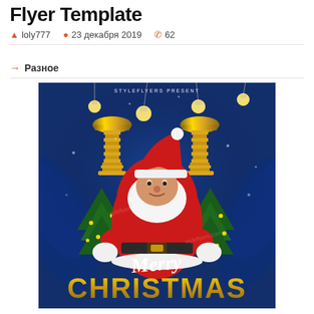Flyer Template
loly777  23 декабря 2019  62
→ Разное
[Figure (illustration): Christmas flyer template showing Santa Claus in red suit standing between two large golden candlestick/trumpet ornaments, with Christmas trees, hanging light bulbs on dark blue background. Text reads 'STYLEFLYERS PRESENT' at top and 'Merry CHRISTMAS' at bottom in gold and white script. Watermark 'styleflyers.com' visible.]